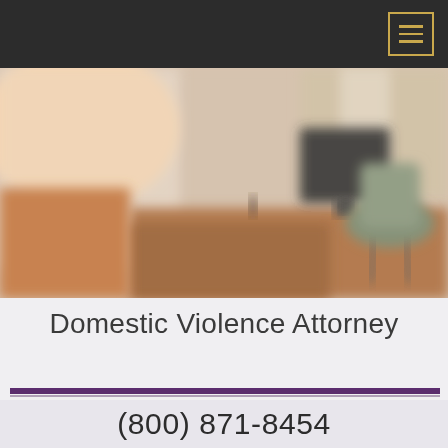[Figure (photo): Blurred office interior with a wooden desk, computer monitor, and green office chair near a bright window]
Domestic Violence Attorney
(800) 871-8454